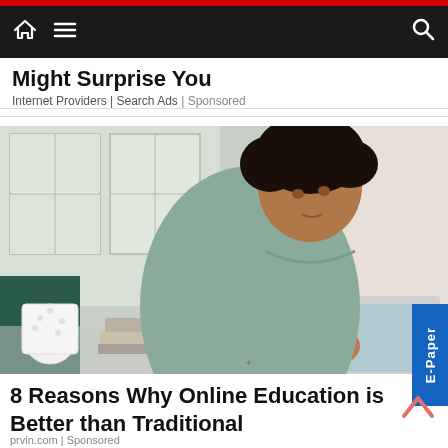Navigation bar with home, menu, and search icons
Might Surprise You
Internet Providers | Search Ads | Sponsored
[Figure (photo): Young woman with curly hair sitting at a desk writing in a notebook with a laptop open in front of her, a mug on the left, in a bright room]
8 Reasons Why Online Education is Better than Traditional
prvin.com | Sponsored